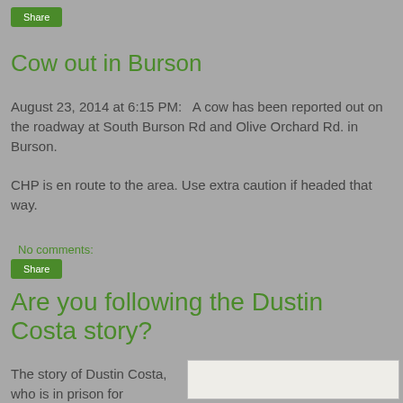[Figure (other): Share button (green rounded rectangle)]
Cow out in Burson
August 23, 2014 at 6:15 PM:   A cow has been reported out on the roadway at South Burson Rd and Olive Orchard Rd. in Burson.
CHP is en route to the area. Use extra caution if headed that way.
No comments:
[Figure (other): Share button (green rounded rectangle)]
Are you following the Dustin Costa story?
The story of Dustin Costa, who is in prison for
[Figure (photo): Partial image at bottom right, appears to be a document or photo, mostly white/gray]